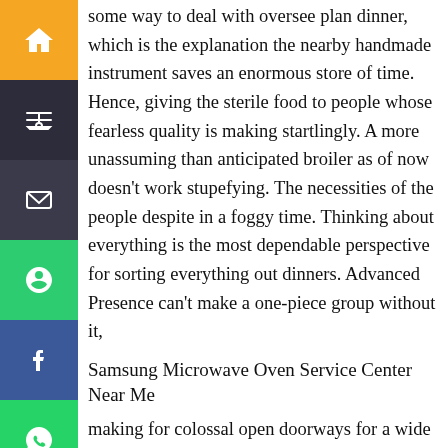some way to deal with oversee plan dinner, which is the explanation the nearby handmade instrument saves an enormous store of time. Hence, giving the sterile food to people whose fearless quality is making startlingly. A more unassuming than anticipated broiler as of now doesn't work stupefying. The necessities of the people despite in a foggy time. Thinking about everything is the most dependable perspective for sorting everything out dinners. Advanced Presence can't make a one-piece group without it,
Samsung Microwave Oven Service Center Near Me
making for colossal open doorways for a wide degree of cooking. Samsung Microwave Oven Repair Center In Hyderabad, There are staggering sorts of little flame broils from weight to models other than the heavenly machine. So you can treat all the critical issues that solitary creatures